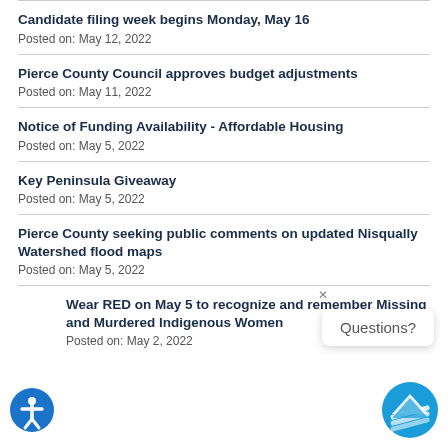Candidate filing week begins Monday, May 16
Posted on: May 12, 2022
Pierce County Council approves budget adjustments
Posted on: May 11, 2022
Notice of Funding Availability - Affordable Housing
Posted on: May 5, 2022
Key Peninsula Giveaway
Posted on: May 5, 2022
Pierce County seeking public comments on updated Nisqually Watershed flood maps
Posted on: May 5, 2022
Wear RED on May 5 to recognize and remember Missing and Murdered Indigenous Women
Posted on: May 2, 2022
Questions?